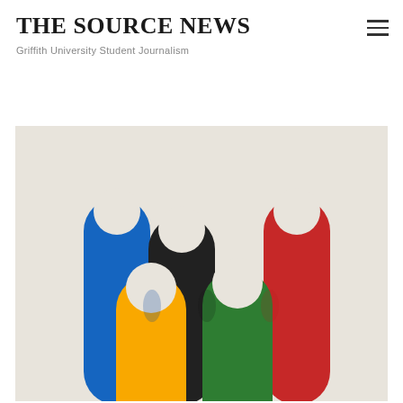THE SOURCE NEWS — Griffith University Student Journalism
[Figure (illustration): Five Olympic-ring styled cylindrical pillars in blue, black, red, yellow, and green colors arranged in an interlocking Olympic rings pattern, shown as 3D rounded rectangles standing upright with circular holes at the top, on a light beige/grey background.]